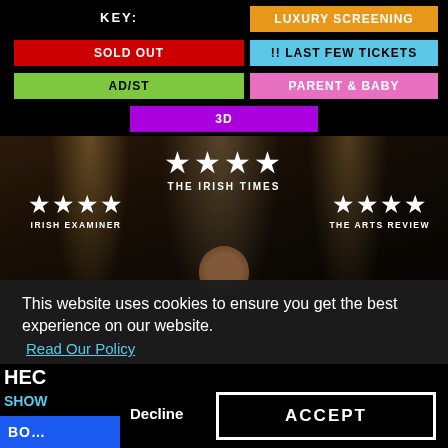KEY:
LUXURY SCREENING
SOLD OUT
!! LAST FEW TICKETS
AD/ST
PARENT & BABY
3D
[Figure (screenshot): Movie promotional banner with star ratings from three publications: Irish Examiner (4 stars), The Irish Times (4 stars, center top), The Arts Review (4 stars), with spotlights on dark background and a small bear figure below]
This website uses cookies to ensure you get the best experience on our website. Read Our Policy
Decline
ACCEPT
HEC
SHOW
BO...